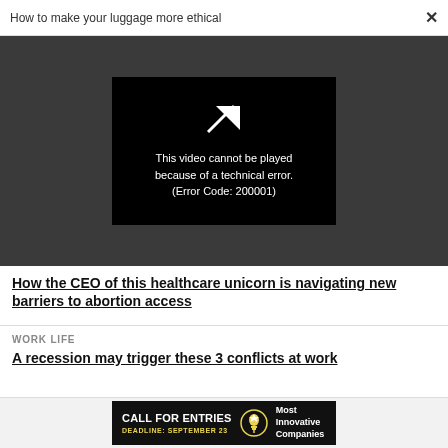How to make your luggage more ethical  ×
[Figure (screenshot): Video player showing error message: This video cannot be played because of a technical error. (Error Code: 200001)]
How the CEO of this healthcare unicorn is navigating new barriers to abortion access
WORK LIFE
A recession may trigger these 3 conflicts at work
[Figure (infographic): Advertisement banner: CALL FOR ENTRIES DEADLINE: SEPTEMBER 23 with lightbulb icon and 'Most Innovative Companies' text]